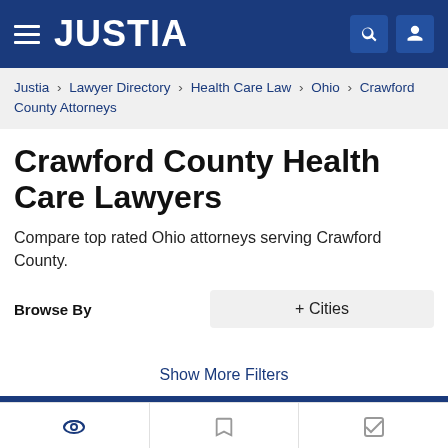JUSTIA
Justia › Lawyer Directory › Health Care Law › Ohio › Crawford County Attorneys
Crawford County Health Care Lawyers
Compare top rated Ohio attorneys serving Crawford County.
Browse By
+ Cities
Show More Filters
Recent (0)
Saved (0)
Compare (0/3)